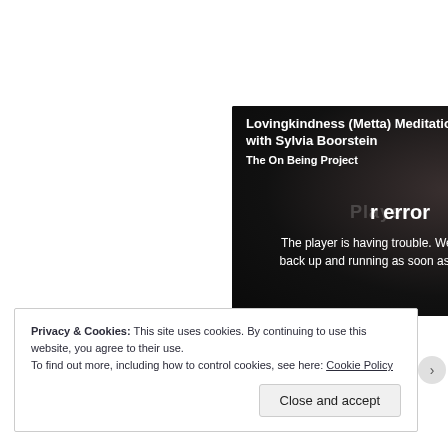[Figure (screenshot): Video player overlay on dark background showing a player error message. Title reads 'Lovingkindness (Metta) Meditation with Sylvia Boorstein', subtitle 'The On Being Project'. Overlaid error text: 'Player error' and 'The player is having trouble. We'll have it back up and running as soon as possible.' A close (X) button is in the top right.]
Privacy & Cookies: This site uses cookies. By continuing to use this website, you agree to their use.
To find out more, including how to control cookies, see here: Cookie Policy
Close and accept